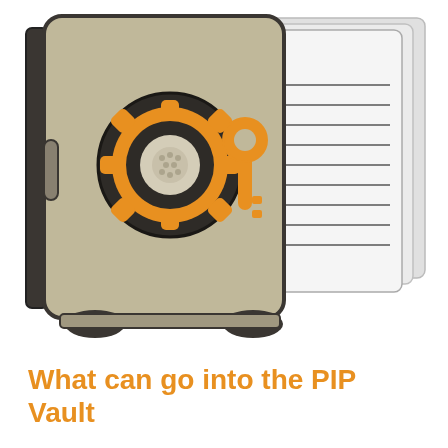[Figure (illustration): Illustration of an open safe/vault with an orange gear dial and orange key on front, with documents/papers sticking out from the open side. The safe is drawn in a flat icon style with dark gray outline, tan/beige body, orange and dark accents for the combination dial and key hole, and light gray document pages emerging from the right side with horizontal lines on them.]
What can go into the PIP Vault